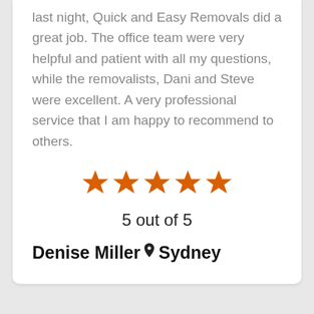last night, Quick and Easy Removals did a great job. The office team were very helpful and patient with all my questions, while the removalists, Dani and Steve were excellent. A very professional service that I am happy to recommend to others.
[Figure (other): Five orange stars rating]
5 out of 5
Denise Miller 📍 Sydney
AAA City Removalist Sydney The best removalists I have ever used.
❝